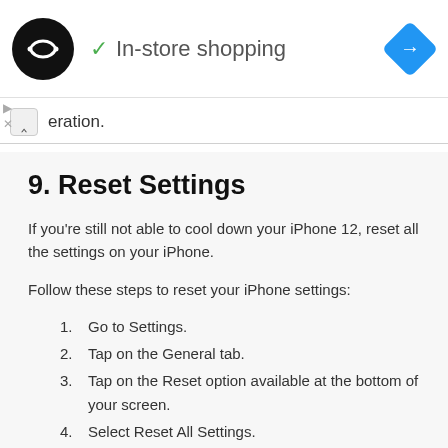[Figure (logo): Black circular logo with double arrow/infinity-like symbol in white, with In-store shopping checkmark label and blue navigation diamond icon on right]
eration.
9. Reset Settings
If you're still not able to cool down your iPhone 12, reset all the settings on your iPhone.
Follow these steps to reset your iPhone settings:
Go to Settings.
Tap on the General tab.
Tap on the Reset option available at the bottom of your screen.
Select Reset All Settings.